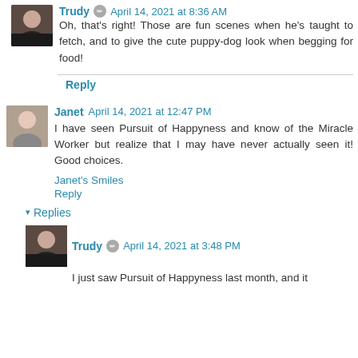Trudy • April 14, 2021 at 8:36 AM
Oh, that's right! Those are fun scenes when he's taught to fetch, and to give the cute puppy-dog look when begging for food!
Reply
Janet April 14, 2021 at 12:47 PM
I have seen Pursuit of Happyness and know of the Miracle Worker but realize that I may have never actually seen it! Good choices.
Janet's Smiles
Reply
▾ Replies
Trudy • April 14, 2021 at 3:48 PM
I just saw Pursuit of Happyness last month, and it